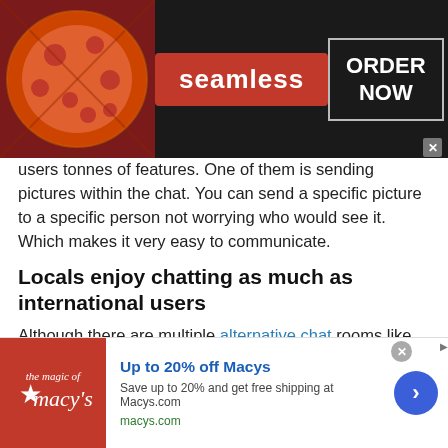[Figure (screenshot): Seamless food delivery advertisement banner with pizza image on left, red 'seamless' badge in center, and 'ORDER NOW' box on right, on dark background]
users tonnes of features. One of them is sending pictures within the chat. You can send a specific picture to a specific person not worrying who would see it. Which makes it very easy to communicate.
Locals enjoy chatting as much as international users
Although there are multiple alternative chat rooms like Omegle, talkwithstranger is considered by far the best. Not only it has many chat rooms it has amazing features
[Figure (screenshot): Macy's advertisement banner showing Macy's logo on red background on left, 'Up to 20% off Macys' text with description, macys.com URL, and blue circle arrow button on right]